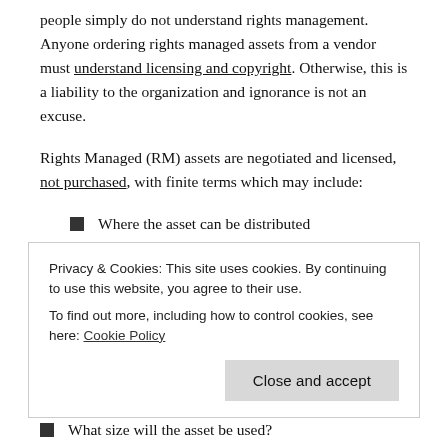people simply do not understand rights management. Anyone ordering rights managed assets from a vendor must understand licensing and copyright. Otherwise, this is a liability to the organization and ignorance is not an excuse.
Rights Managed (RM) assets are negotiated and licensed, not purchased, with finite terms which may include:
Where the asset can be distributed (geographically)?
How the asset can be distributed (in what media)?
Privacy & Cookies: This site uses cookies. By continuing to use this website, you agree to their use.
To find out more, including how to control cookies, see here: Cookie Policy
What size will the asset be used?